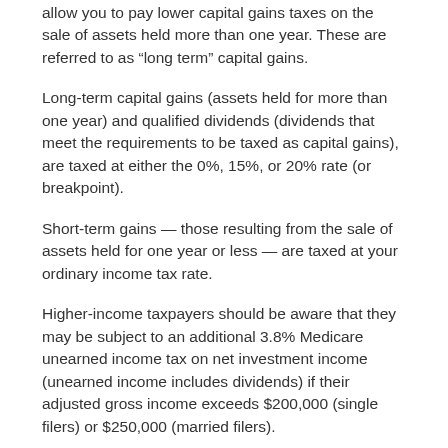allow you to pay lower capital gains taxes on the sale of assets held more than one year. These are referred to as “long term” capital gains.
Long-term capital gains (assets held for more than one year) and qualified dividends (dividends that meet the requirements to be taxed as capital gains), are taxed at either the 0%, 15%, or 20% rate (or breakpoint).
Short-term gains — those resulting from the sale of assets held for one year or less — are taxed at your ordinary income tax rate.
Higher-income taxpayers should be aware that they may be subject to an additional 3.8% Medicare unearned income tax on net investment income (unearned income includes dividends) if their adjusted gross income exceeds $200,000 (single filers) or $250,000 (married filers).